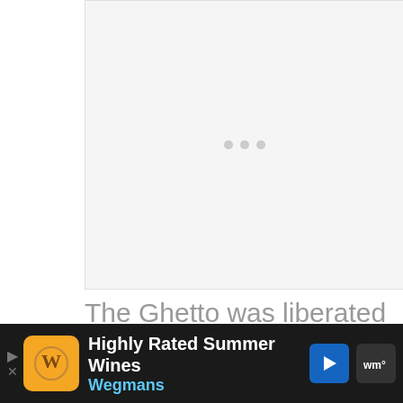[Figure (other): Video player area with loading indicator (three gray dots) on a light gray background]
The Ghetto was liberated from Nazi occupation in 1945.  Since that, the
[Figure (other): Advertisement bar: Highly Rated Summer Wines - Wegmans, with orange logo, blue navigation arrow, and dark background]